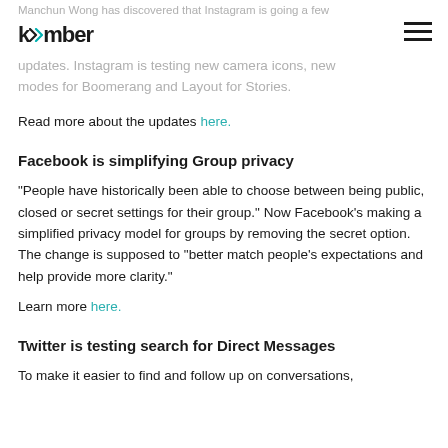Manchun Wong has discovered that Instagram is going a few updates. Instagram is testing new camera icons, new modes for Boomerang and Layout for Stories.
Read more about the updates here.
Facebook is simplifying Group privacy
“People have historically been able to choose between being public, closed or secret settings for their group.” Now Facebook’s making a simplified privacy model for groups by removing the secret option. The change is supposed to “better match people’s expectations and help provide more clarity.”
Learn more here.
Twitter is testing search for Direct Messages
To make it easier to find and follow up on conversations,